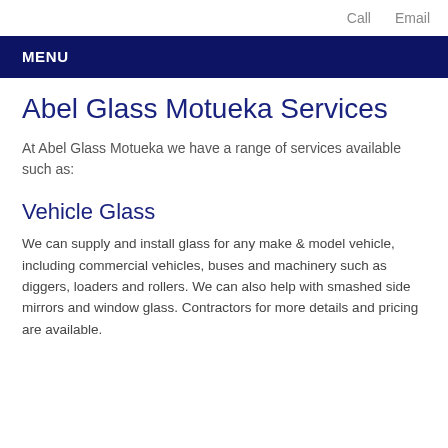Call   Email
MENU
Abel Glass Motueka Services
At Abel Glass Motueka we have a range of services available such as:
Vehicle Glass
We can supply and install glass for any make & model vehicle, including commercial vehicles, buses and machinery such as diggers, loaders and rollers. We can also help with smashed side mirrors and window glass. Contractors for…